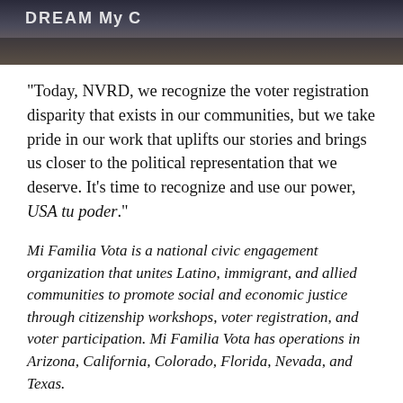[Figure (photo): Crowd of people at a political event, some wearing shirts with text including 'DREAM' and 'My C']
“Today, NVRD, we recognize the voter registration disparity that exists in our communities, but we take pride in our work that uplifts our stories and brings us closer to the political representation that we deserve. It’s time to recognize and use our power, USA tu poder.”
Mi Familia Vota is a national civic engagement organization that unites Latino, immigrant, and allied communities to promote social and economic justice through citizenship workshops, voter registration, and voter participation. Mi Familia Vota has operations in Arizona, California, Colorado, Florida, Nevada, and Texas.
Share this: